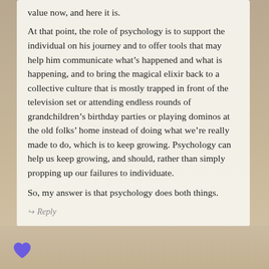value now, and here it is.
At that point, the role of psychology is to support the individual on his journey and to offer tools that may help him communicate what's happened and what is happening, and to bring the magical elixir back to a collective culture that is mostly trapped in front of the television set or attending endless rounds of grandchildren's birthday parties or playing dominos at the old folks' home instead of doing what we're really made to do, which is to keep growing. Psychology can help us keep growing, and should, rather than simply propping up our failures to individuate.
So, my answer is that psychology does both things.
↩ Reply